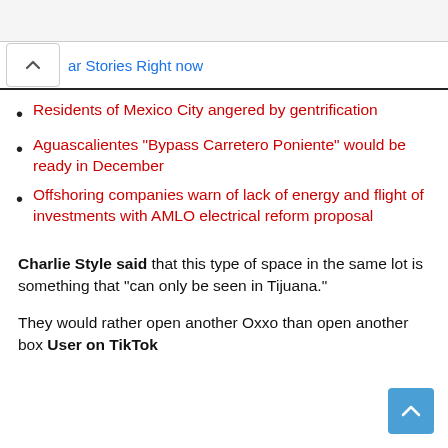ar Stories Right now
Residents of Mexico City angered by gentrification
Aguascalientes “Bypass Carretero Poniente” would be ready in December
Offshoring companies warn of lack of energy and flight of investments with AMLO electrical reform proposal
Charlie Style said that this type of space in the same lot is something that “can only be seen in Tijuana.”
They would rather open another Oxxo than open another box User on TikTok